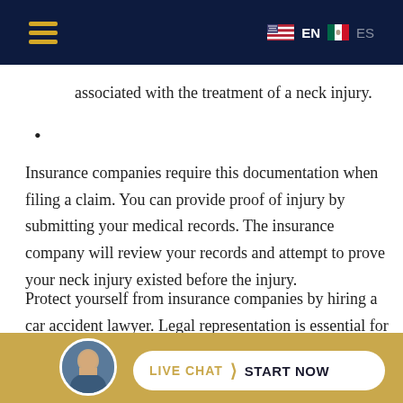EN  ES  [hamburger menu]
associated with the treatment of a neck injury.
Insurance companies require this documentation when filing a claim. You can provide proof of injury by submitting your medical records. The insurance company will review your records and attempt to prove your neck injury existed before the injury.
Protect yourself from insurance companies by hiring a car accident lawyer. Legal representation is essential for several reasons, but a primary reason is to prevent the insurer from insisting they are not financially responsible for...